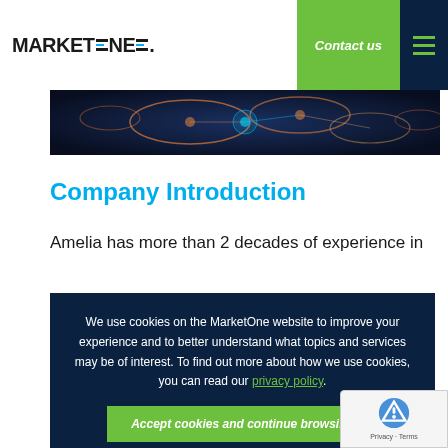MarketOne — Contact us
[Figure (photo): Hero banner image with glowing orange/teal network nodes on dark blue background]
Company Introduction
Amelia has more than 2 decades of experience in marketing communications, helping more than 500 of the world's leading brands, including global leaders in banking, insurance, telecommunications and more.
We use cookies on the MarketOne website to improve your experience and to better understand what topics and services may be of interest. To find out more about how we use cookies, you can read our privacy policy. Accept cookies and continue browsing